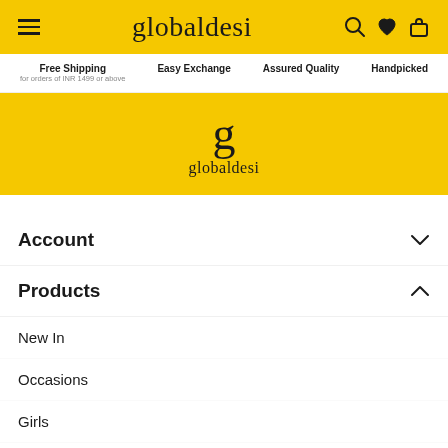globaldesi navigation header with hamburger menu, search, wishlist, and bag icons
Free Shipping for orders of INR 1499 or above | Easy Exchange | Assured Quality | Handpicked
[Figure (logo): globaldesi logo with stylized g lettermark on yellow background]
Account
Products
New In
Occasions
Girls
Women